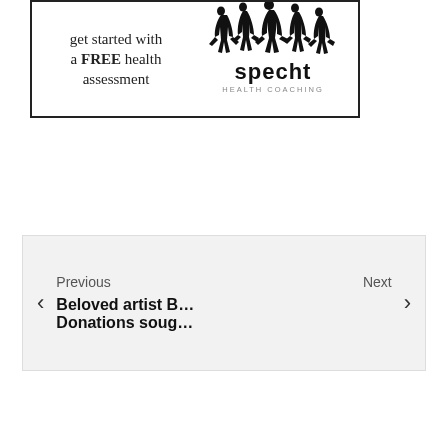[Figure (logo): Specht Health Coaching advertisement banner with silhouette of jumping people, text 'get started with a FREE health assessment' and 'specht HEALTH COACHING' logo]
Previous
Beloved artist B…
Next
Donations soug…